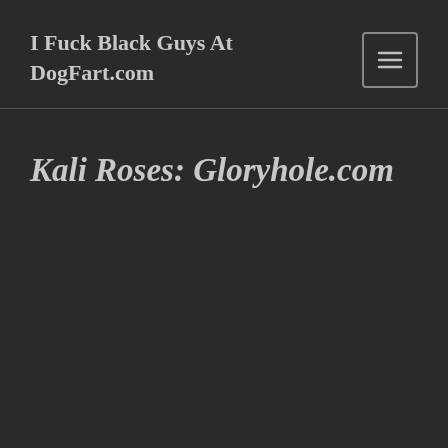I Fuck Black Guys At DogFart.com
Kali Roses: Gloryhole.com